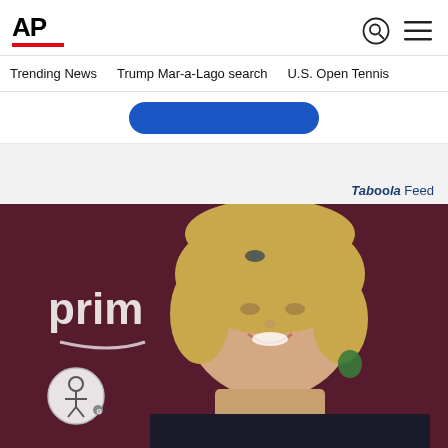AP
Trending News  Trump Mar-a-Lago search  U.S. Open Tennis
[Figure (other): Blue rounded rectangle button (advertisement block)]
Taboola Feed
[Figure (photo): Smiling blonde woman at a Prime Video event, wearing green earrings, with Amazon Prime branding visible in the background. Accessibility icon visible in bottom-left corner.]